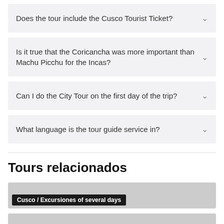Does the tour include the Cusco Tourist Ticket?
Is it true that the Coricancha was more important than Machu Picchu for the Incas?
Can I do the City Tour on the first day of the trip?
What language is the tour guide service in?
Tours relacionados
[Figure (photo): Card showing Cusco / Excursiones of several days category]
[Figure (photo): Card showing Cusco / Day trips category]